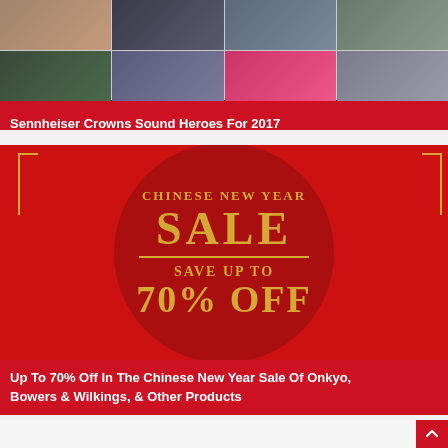[Figure (photo): Grid of 8 photos showing people wearing headphones and audio equipment, Sennheiser promotional imagery]
Sennheiser Crowns Sound Heroes For 2017
[Figure (photo): Chinese New Year Sale banner with red background and gold text reading CHINESE NEW YEAR SALE, SAVE UP TO 70% OFF]
Up To 70% Off In The Chinese New Year Sale Of Onkyo, Bowers & Wilkings, & Other Products